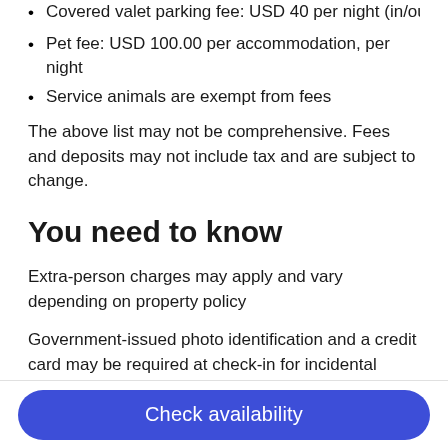Covered valet parking fee: USD 40 per night (in/out privileges)
Pet fee: USD 100.00 per accommodation, per night
Service animals are exempt from fees
The above list may not be comprehensive. Fees and deposits may not include tax and are subject to change.
You need to know
Extra-person charges may apply and vary depending on property policy
Government-issued photo identification and a credit card may be required at check-in for incidental charges
Special requests are subject to availability upon check-in and may incur additional charges; special requests cannot be guaranteed
This property accepts credit/debit cards; cash is not accepted
Noise-free guestrooms cannot be guaranteed
Be prepared: check the latest COVID-19 travel requirements and
Check availability